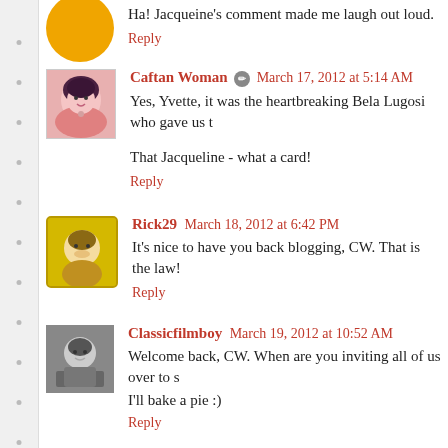Ha! Jacqueine's comment made me laugh out loud.
Reply
Caftan Woman  March 17, 2012 at 5:14 AM
Yes, Yvette, it was the heartbreaking Bela Lugosi who gave us t
That Jacqueline - what a card!
Reply
Rick29  March 18, 2012 at 6:42 PM
It's nice to have you back blogging, CW. That is the law!
Reply
Classicfilmboy  March 19, 2012 at 10:52 AM
Welcome back, CW. When are you inviting all of us over to s
I'll bake a pie :)
Reply